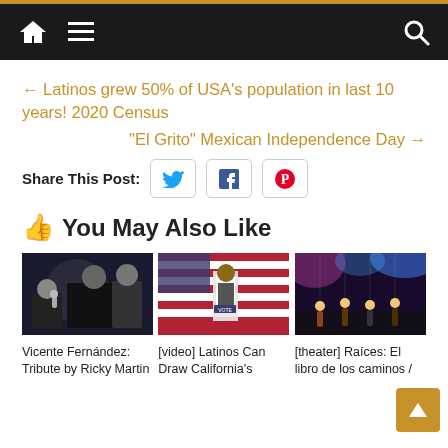Navigation bar with home, menu, and search icons
← Latinos grew 50% of USA's population in last 10 years! 2020 Census
“El Grito” Mexican Independence Day →
Share This Post:
👍 You May Also Like
[Figure (photo): Vicente Fernández on stage with another performer]
Vicente Fernández: Tribute by Ricky Martin
[Figure (photo): Person at voting booth with American flags]
[video] Latinos Can Draw California's
[Figure (photo): Theater performance with costumed characters on stage with colorful lighting]
[theater] Raíces: El libro de los caminos /